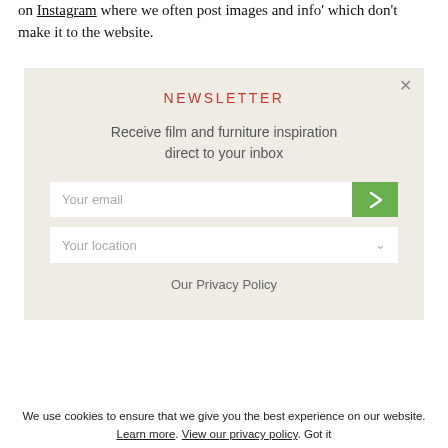on Instagram where we often post images and info' which don't make it to the website.
[Figure (screenshot): Newsletter signup modal overlay with beige/cream background. Contains a red 'NEWSLETTER' heading, description text 'Receive film and furniture inspiration direct to your inbox', an email input field with a green submit arrow button, a location dropdown field, and an 'Our Privacy Policy' link. A close (X) button is in the top right corner.]
We use cookies to ensure that we give you the best experience on our website. Learn more. View our privacy policy. Got it